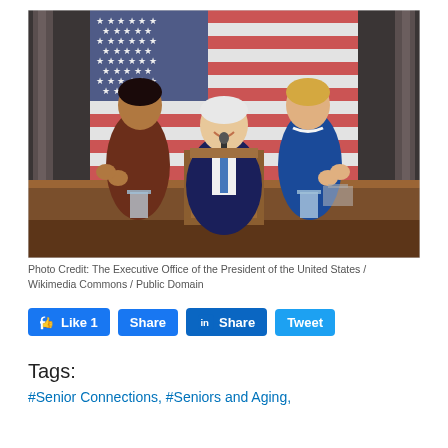[Figure (photo): Photo of President Biden at a podium with two women standing behind him clapping, in front of a large American flag. The setting appears to be the US Capitol chamber for a State of the Union address.]
Photo Credit: The Executive Office of the President of the United States / Wikimedia Commons / Public Domain
Like 1   Share   in Share   Tweet
Tags:
#Senior Connections, #Seniors and Aging,